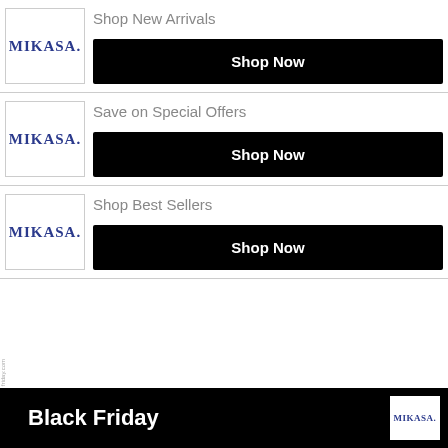[Figure (logo): Mikasa logo in square box with text 'MIKASA.']
Shop New Arrivals
[Figure (other): Black 'Shop Now' button]
[Figure (logo): Mikasa logo in square box with text 'MIKASA.']
Save on Special Offers
[Figure (other): Black 'Shop Now' button]
[Figure (logo): Mikasa logo in square box with text 'MIKASA.']
Shop Best Sellers
[Figure (other): Black 'Shop Now' button]
[Figure (infographic): Black Friday banner with Mikasa logo]